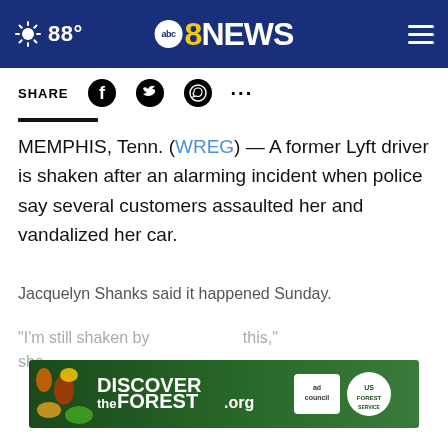88° abc8NEWS
SHARE
MEMPHIS, Tenn. (WREG) — A former Lyft driver is shaken after an alarming incident when police say several customers assaulted her and vandalized her car.
Jacquelyn Shanks said it happened Sunday.
“I’m still shaken by this,” she
[Figure (screenshot): CONTINUE READING button overlay in dark blue]
[Figure (screenshot): DISCOVERtheFOREST.org advertisement banner with ad council and US Forest Service logos]